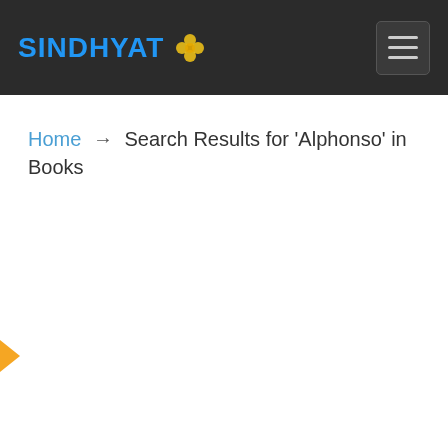SINDHYAT
Home → Search Results for 'Alphonso' in Books